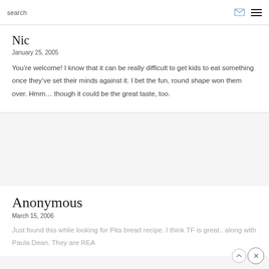search
Nic
January 25, 2005
You’re welcome! I know that it can be really difficult to get kids to eat something once they’ve set their minds against it. I bet the fun, round shape won them over. Hmm… though it could be the great taste, too.
Anonymous
March 15, 2006
Just found this while looking for Pita bread recipe. I think TF is great.. along with Paula Dean. They are REA